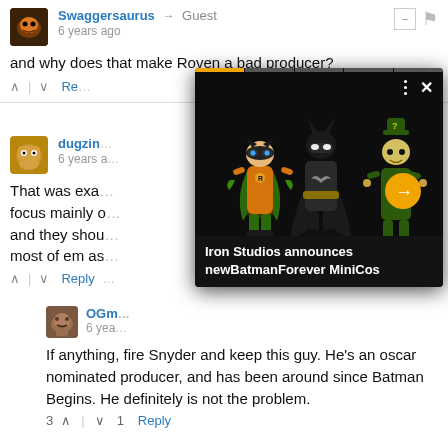Swaggersaurus → Guest
6 years ago
and why does that make Roven a bad producer?
dugzin
6 years ago
That was exa... focus mainly o... and they shou... st most of em as...
[Figure (screenshot): Popup overlay showing Iron Studios Batman Forever MiniCos figurines (Robin, Batman, Riddler) with progress bar and navigation arrow]
Iron Studios announces newBatmanForever MiniCos
OGm
6 years ago
If anything, fire Snyder and keep this guy. He's an oscar nominated producer, and has been around since Batman Begins. He definitely is not the problem.
3 ∧ | ∨ 1  Reply